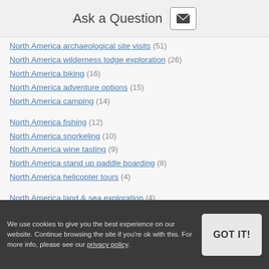Ask a Question
North America archaeological site visits (51)
North America wilderness lodge exploration (26)
North America biking (16)
North America adventure options (15)
North America camping (14)
North America fishing (12)
North America snorkeling (10)
North America wine tasting (9)
North America stand up paddle boarding (8)
North America helicopter tours (4)
North America land & sea exploration (4)
North America whitewater rafting (4)
We use cookies to give you the best experience on our website. Continue browsing the site if you're ok with this. For more info, please see our privacy policy.